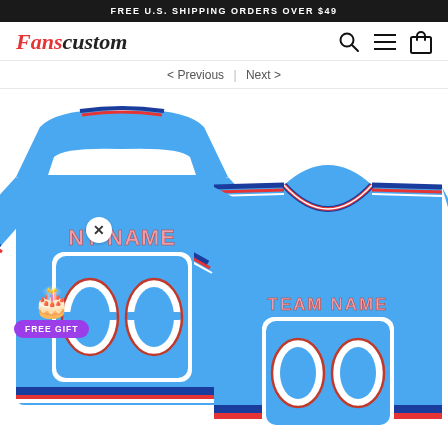FREE U.S. SHIPPING ORDERS OVER $49
[Figure (logo): Fanscustom logo in red and black italic serif font, with search, menu, and cart icons on the right]
< Previous | Next >
[Figure (photo): Two custom football jerseys in blue with white and red trim. Left jersey shows the back with 'ANY NAME' and number '00'. Right jersey shows the front with 'TEAM NAME' and number '00'. A FREE GIFT badge with gift emoji appears in the lower left, and a close (X) button appears near upper left of the jersey.]